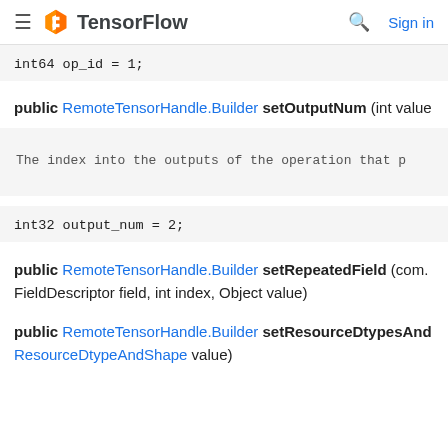TensorFlow  Sign in
public RemoteTensorHandle.Builder setOutputNum (int value
The index into the outputs of the operation that p
public RemoteTensorHandle.Builder setRepeatedField (com. FieldDescriptor field, int index, Object value)
public RemoteTensorHandle.Builder setResourceDtypesAnd ResourceDtypeAndShape value)